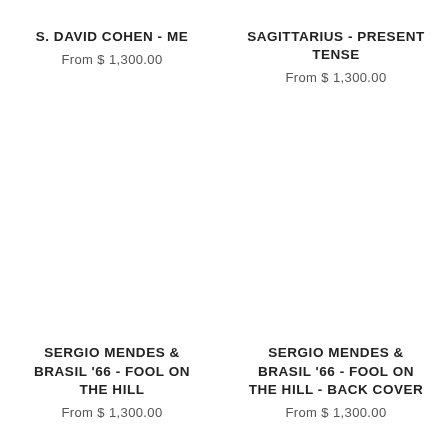S. DAVID COHEN - ME
From $ 1,300.00
SAGITTARIUS - PRESENT TENSE
From $ 1,300.00
SERGIO MENDES & BRASIL '66 - FOOL ON THE HILL
From $ 1,300.00
SERGIO MENDES & BRASIL '66 - FOOL ON THE HILL - BACK COVER
From $ 1,300.00